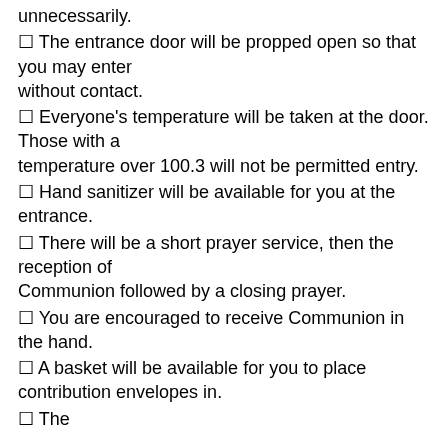unnecessarily.
☐ The entrance door will be propped open so that you may enter without contact.
☐ Everyone's temperature will be taken at the door. Those with a temperature over 100.3 will not be permitted entry.
☐ Hand sanitizer will be available for you at the entrance.
☐ There will be a short prayer service, then the reception of Communion followed by a closing prayer.
☐ You are encouraged to receive Communion in the hand.
☐ A basket will be available for you to place contribution envelopes in.
☐ They will also leave an envelope to provide